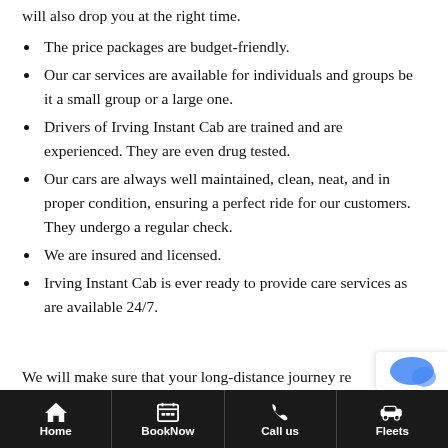will also drop you at the right time.
The price packages are budget-friendly.
Our car services are available for individuals and groups be it a small group or a large one.
Drivers of Irving Instant Cab are trained and are experienced. They are even drug tested.
Our cars are always well maintained, clean, neat, and in proper condition, ensuring a perfect ride for our customers. They undergo a regular check.
We are insured and licensed.
Irving Instant Cab is ever ready to provide care services as are available 24/7.
We will make sure that your long-distance journey re
Home | BookNow | Call us | Fleets